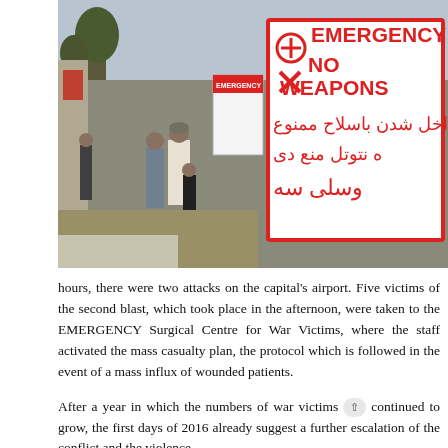[Figure (photo): Photograph showing people standing near a stone wall with a large white and red sign reading 'EMERGENCY NO WEAPONS' in English and Dari/Pashto text below. Trees and winter scenery visible in background.]
hours, there were two attacks on the capital's airport. Five victims of the second blast, which took place in the afternoon, were taken to the EMERGENCY Surgical Centre for War Victims, where the staff activated the mass casualty plan, the protocol which is followed in the event of a mass influx of wounded patients.
After a year in which the numbers of war victims have continued to grow, the first days of 2016 already suggest a further escalation of the conflict and the violence.